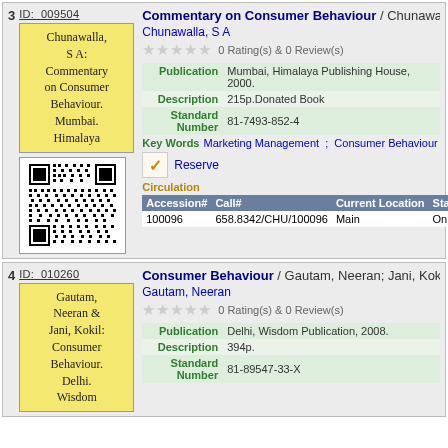3   ID: 009504
[Figure (illustration): Yellow book card with text: Chunawalla, S A: Commentary on Consumer Behaviour. Mumbai. Himalaya]
[Figure (other): QR code for record 3]
Commentary on Consumer Behaviour / Chunawalla
Chunawalla, S A
0 Rating(s) & 0 Review(s)
| Publication | Mumbai, Himalaya Publishing House, 2000. |
| Description | 215p.Donated Book |
| Standard Number | 81-7493-852-4 |
Key Words  Marketing Management  ;  Consumer Behaviour
Reserve
Circulation
| Accession# | Call# | Current Location | Status |
| --- | --- | --- | --- |
| 100096 | 658.8342/CHU/100096 | Main | On Sh |
4   ID: 010260
[Figure (illustration): Yellow book card with text: Gautam, Neeran & Jani, Kokil: Consumer Behaviour. Delhi. Wisdom]
Consumer Behaviour / Gautam, Neeran; Jani, Kokil
Gautam, Neeran
0 Rating(s) & 0 Review(s)
| Publication | Delhi, Wisdom Publication, 2008. |
| Description | 394p. |
| Standard Number | 81-89547-33-X |